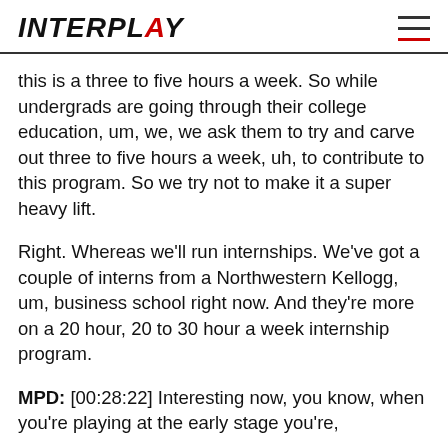INTERPLAY
this is a three to five hours a week. So while undergrads are going through their college education, um, we, we ask them to try and carve out three to five hours a week, uh, to contribute to this program. So we try not to make it a super heavy lift.
Right. Whereas we'll run internships. We've got a couple of interns from a Northwestern Kellogg, um, business school right now. And they're more on a 20 hour, 20 to 30 hour a week internship program.
MPD: [00:28:22] Interesting now, you know, when you're playing at the early stage you're,